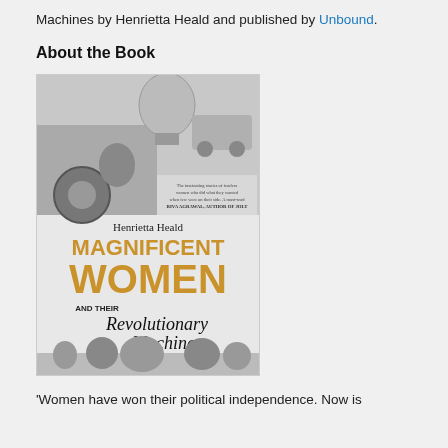Machines by Henrietta Heald and published by Unbound.
About the Book
[Figure (photo): Book cover of 'Magnificent Women and their Revolutionary Machines' by Henrietta Heald, showing black and white vintage photographs of women with motorcycles, motorcars and a hot air balloon, with gold and script lettering for the title.]
'Women have won their political independence. Now is